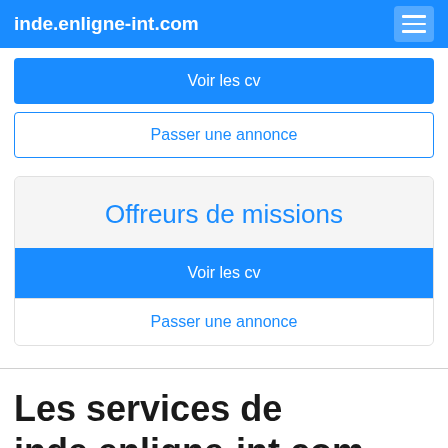inde.enligne-int.com
Voir les cv
Passer une annonce
Offreurs de missions
Voir les cv
Passer une annonce
Les services de inde.enligne-int.com vers international